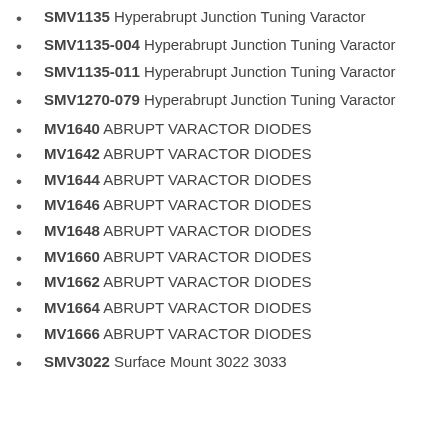SMV1135 Hyperabrupt Junction Tuning Varactor
SMV1135-004 Hyperabrupt Junction Tuning Varactor
SMV1135-011 Hyperabrupt Junction Tuning Varactor
SMV1270-079 Hyperabrupt Junction Tuning Varactor
MV1640 ABRUPT VARACTOR DIODES
MV1642 ABRUPT VARACTOR DIODES
MV1644 ABRUPT VARACTOR DIODES
MV1646 ABRUPT VARACTOR DIODES
MV1648 ABRUPT VARACTOR DIODES
MV1660 ABRUPT VARACTOR DIODES
MV1662 ABRUPT VARACTOR DIODES
MV1664 ABRUPT VARACTOR DIODES
MV1666 ABRUPT VARACTOR DIODES
SMV3022 Surface Mount 3022 3033